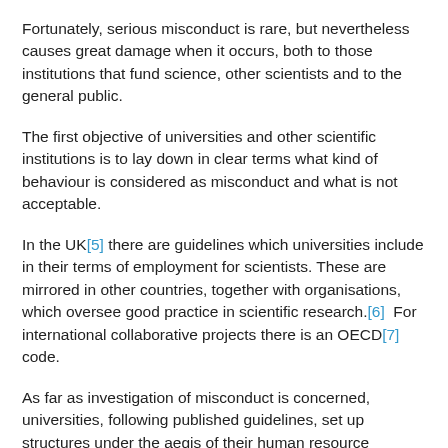Fortunately, serious misconduct is rare, but nevertheless causes great damage when it occurs, both to those institutions that fund science, other scientists and to the general public.
The first objective of universities and other scientific institutions is to lay down in clear terms what kind of behaviour is considered as misconduct and what is not acceptable.
In the UK[5] there are guidelines which universities include in their terms of employment for scientists. These are mirrored in other countries, together with organisations, which oversee good practice in scientific research.[6]  For international collaborative projects there is an OECD[7] code.
As far as investigation of misconduct is concerned, universities, following published guidelines, set up structures under the aegis of their human resource departments, to consider and investigate allegations of scientific fraud.
The problem is what happens after serious misconduct is identified. Universities, as employers, may rely on employment legislation to sanction perpetrators. In